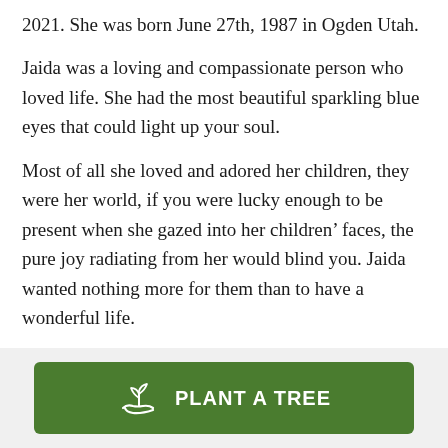2021. She was born June 27th, 1987 in Ogden Utah.
Jaida was a loving and compassionate person who loved life. She had the most beautiful sparkling blue eyes that could light up your soul.
Most of all she loved and adored her children, they were her world, if you were lucky enough to be present when she gazed into her children’ faces, the pure joy radiating from her would blind you. Jaida wanted nothing more for them than to have a wonderful life.
[Figure (other): Green button with plant/tree icon and text PLANT A TREE]